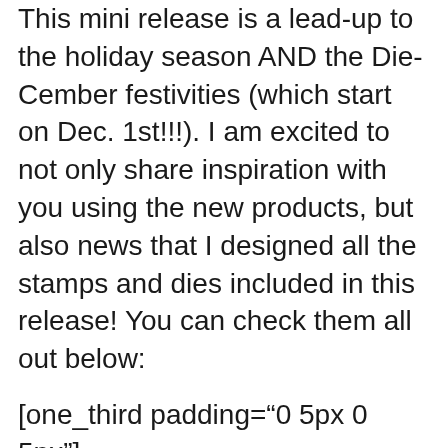This mini release is a lead-up to the holiday season AND the Die-Cember festivities (which start on Dec. 1st!!!). I am excited to not only share inspiration with you using the new products, but also news that I designed all the stamps and dies included in this release! You can check them all out below:
[one_third padding="0 5px 0 5px"] [img: 1_363055_zm] [/one_third][one_third padding="0 5px 0 5px"] [img: 1_363053_zm] [/one_third][one_third_last padding="0 5px 0 5px"] [img: 1_363051_zm] [/one_third_last]
[one_third padding="0 5px 0 5px"] [img: 1_363049_zm] [/one_third][one_third padding="0 5px 0 5px"] [img: 1_363057_zm] [/one_third][one_third_last padding="0 5px 0